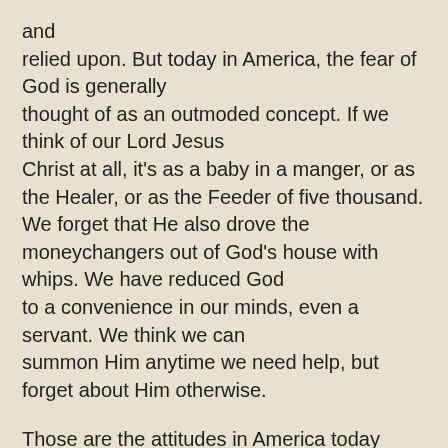and relied upon. But today in America, the fear of God is generally thought of as an outmoded concept. If we think of our Lord Jesus Christ at all, it's as a baby in a manger, or as the Healer, or as the Feeder of five thousand. We forget that He also drove the moneychangers out of God's house with whips. We have reduced God to a convenience in our minds, even a servant. We think we can summon Him anytime we need help, but forget about Him otherwise.
Those are the attitudes in America today which arouse contempt and even anger in the new Kremlin. In AUDIO LETTER No. 38 I told my listeners about the struggle of six decades that led to the overthrow of the atheistic Bolsheviks in Russia. Russia's new